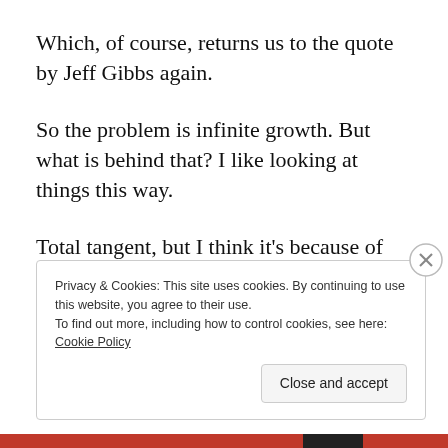Which, of course, returns us to the quote by Jeff Gibbs again.
So the problem is infinite growth. But what is behind that? I like looking at things this way.
Total tangent, but I think it’s because of another show I watched as a kid religiously…Robotech.
Privacy & Cookies: This site uses cookies. By continuing to use this website, you agree to their use.
To find out more, including how to control cookies, see here: Cookie Policy
Close and accept